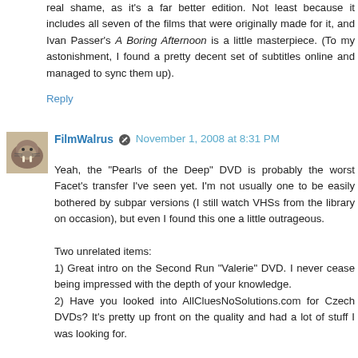real shame, as it's a far better edition. Not least because it includes all seven of the films that were originally made for it, and Ivan Passer's A Boring Afternoon is a little masterpiece. (To my astonishment, I found a pretty decent set of subtitles online and managed to sync them up).
Reply
FilmWalrus  November 1, 2008 at 8:31 PM
Yeah, the "Pearls of the Deep" DVD is probably the worst Facet's transfer I've seen yet. I'm not usually one to be easily bothered by subpar versions (I still watch VHSs from the library on occasion), but even I found this one a little outrageous.
Two unrelated items:
1) Great intro on the Second Run "Valerie" DVD. I never cease being impressed with the depth of your knowledge.
2) Have you looked into AllCluesNoSolutions.com for Czech DVDs? It's pretty up front on the quality and had a lot of stuff I was looking for.